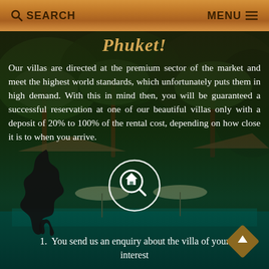SEARCH   MENU
Phuket!
Our villas are directed at the premium sector of the market and meet the highest world standards, which unfortunately puts them in high demand. With this in mind then, you will be guaranteed a successful reservation at one of our beautiful villas only with a deposit of 20% to 100% of the rental cost, depending on how close it is to when you arrive.
[Figure (illustration): Villa/resort pool area with tropical garden, palm trees, thatched roof structures and pool loungers — background photo]
[Figure (illustration): Black silhouette map of Thailand]
[Figure (illustration): Circular search/magnifying glass icon with house symbol inside, white on dark circle]
1.  You send us an enquiry about the villa of your interest
[Figure (illustration): Dark diamond-shaped scroll-up button with upward arrow]